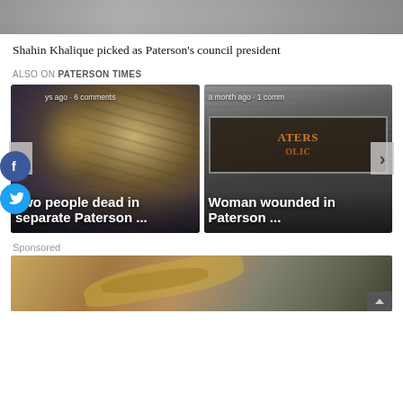[Figure (photo): Partial photo at top of page, cropped, showing people]
Shahin Khalique picked as Paterson’s council president
ALSO ON PATERSON TIMES
[Figure (photo): Photo of Paterson police badge/patch on uniform, dark background. Caption overlay: 'ys ago • 6 comments'. Headline overlay: 'Two people dead in separate Paterson ...']
[Figure (photo): Photo of Paterson Police sign on building exterior. Caption overlay: 'a month ago • 1 comm'. Headline overlay: 'Woman wounded in Paterson ...']
Sponsored
[Figure (photo): Sponsored content image showing what appears to be food/produce on a wooden surface, partially visible]